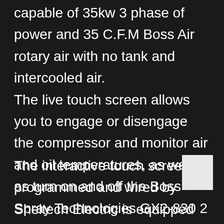capable of 35kw 3 phase of power and 35 C.F.M Boss Air rotary air with no tank and intercooled air. The live touch screen allows you to engage or disengage the compressor and monitor air and oil temperatures, as well as turn on and off the Boss Spray Technologies GX2-830 2 Gun equalizer hose heat system.
The interactive touch screen programmed and wired by Sheltech Electric is equipped with safety shut down modes to ensure the longevity of the...